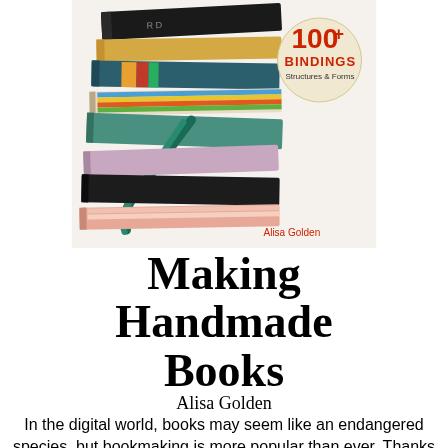[Figure (photo): Book cover of 'Making Handmade Books' by Alisa Golden showing a stack of handmade books with colorful spines, with a badge reading '100+ BINDINGS Structures & Forms' and author name 'Alisa Golden' in red]
Making Handmade Books
Alisa Golden
In the digital world, books may seem like an endangered species, but bookmaking is more popular than ever. Thanks to the 100 ideas in this volume, the craft is now